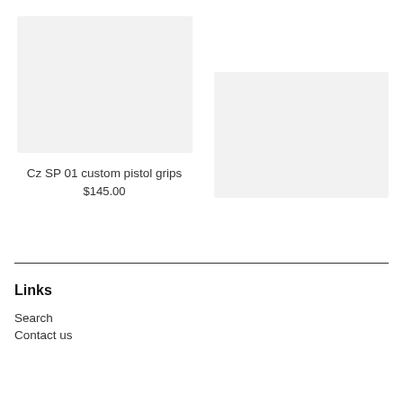[Figure (photo): Product image placeholder (light gray rectangle) for Cz SP 01 custom pistol grips]
Cz SP 01 custom pistol grips
$145.00
[Figure (photo): Second product image placeholder (light gray rectangle)]
Links
Search
Contact us